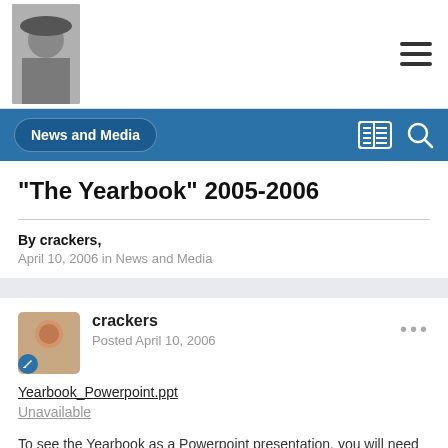[Figure (photo): Profile photo thumbnail in top-left corner, person wearing hat]
[Figure (other): Hamburger menu icon (three horizontal lines) in top-right corner]
News and Media
"The Yearbook" 2005-2006
By crackers,
April 10, 2006 in News and Media
[Figure (photo): User avatar for crackers with blue badge]
crackers
Posted April 10, 2006
Yearbook_Powerpoint.ppt
Unavailable
To see the Yearbook as a Powerpoint presentation, you will need to open it as "Read Only" and may need to download Powerpoint Reader